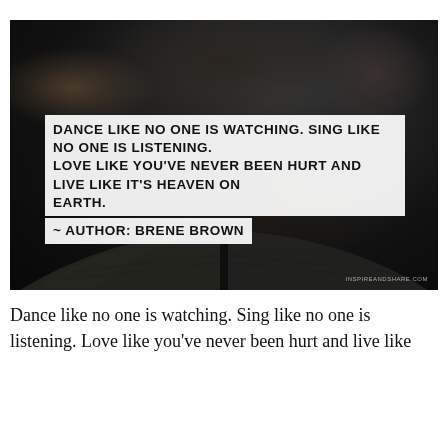[Figure (photo): Dark photo of a person reading/viewing an open book from behind, with a blurred crowd in the background. Overlaid on the photo is a white-background text box with a quote in bold uppercase: 'DANCE LIKE NO ONE IS WATCHING. SING LIKE NO ONE IS LISTENING. LOVE LIKE YOU'VE NEVER BEEN HURT AND LIVE LIKE IT'S HEAVEN ON EARTH.' followed by '~ AUTHOR: BRENE BROWN']
Dance like no one is watching. Sing like no one is listening. Love like you've never been hurt and live like